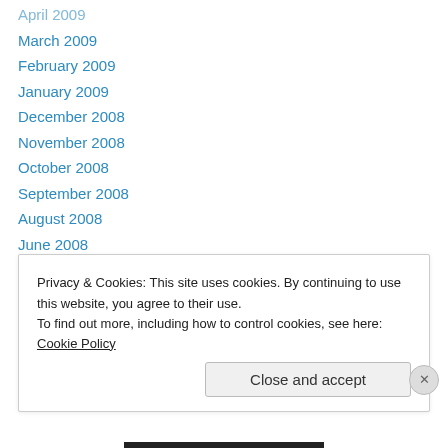April 2009
March 2009
February 2009
January 2009
December 2008
November 2008
October 2008
September 2008
August 2008
June 2008
May 2008
Privacy & Cookies: This site uses cookies. By continuing to use this website, you agree to their use.
To find out more, including how to control cookies, see here: Cookie Policy
Close and accept